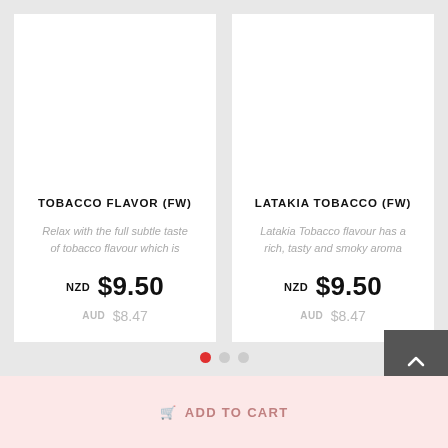TOBACCO FLAVOR (FW)
Relax with the full subtle taste of tobacco flavour which is
NZD $9.50
AUD $8.47
LATAKIA TOBACCO (FW)
Latakia Tobacco flavour has a rich, tasty and smoky aroma
NZD $9.50
AUD $8.47
ADD TO CART